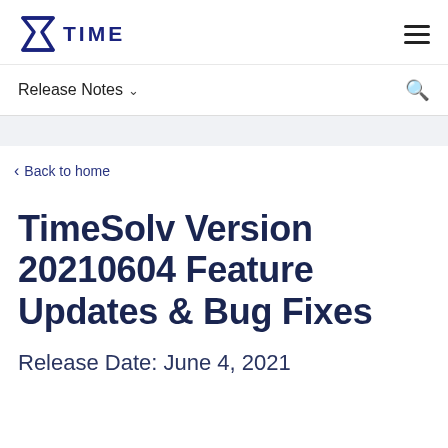[Figure (logo): TimeSolv logo with hourglass/X icon in dark navy blue and the word TIME in uppercase letters]
Release Notes ∨
< Back to home
TimeSolv Version 20210604 Feature Updates & Bug Fixes
Release Date: June 4, 2021